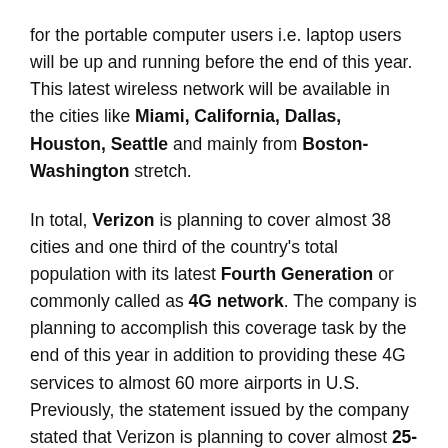for the portable computer users i.e. laptop users will be up and running before the end of this year. This latest wireless network will be available in the cities like Miami, California, Dallas, Houston, Seattle and mainly from Boston-Washington stretch.
In total, Verizon is planning to cover almost 38 cities and one third of the country's total population with its latest Fourth Generation or commonly called as 4G network. The company is planning to accomplish this coverage task by the end of this year in addition to providing these 4G services to almost 60 more airports in U.S. Previously, the statement issued by the company stated that Verizon is planning to cover almost 25-30 countries by this year, but these cities were not identified by the company.